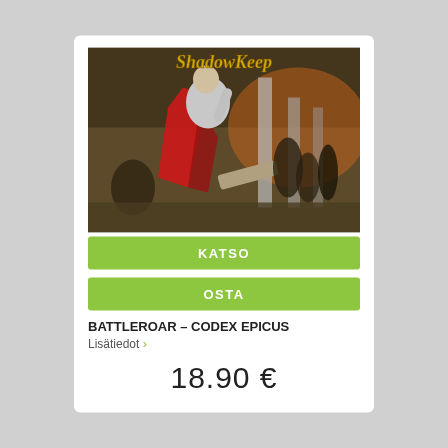[Figure (illustration): Album cover art for Battleroar - Codex Epicus featuring a warrior figure with a red cape amid ancient columns, with the text 'ShadowKeep' in gothic lettering at the top]
KATSO
OSTA
BATTLEROAR – CODEX EPICUS
Lisätiedot ›
18.90 €